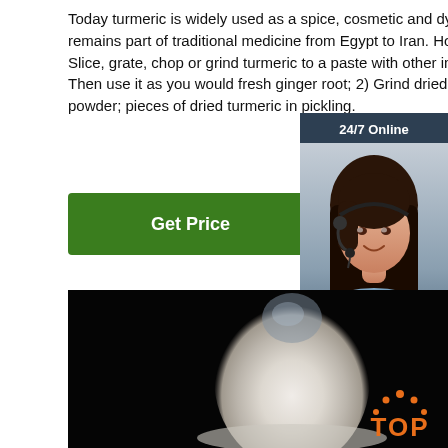Today turmeric is widely used as a spice, cosmetic and dyestuff, and remains part of traditional medicine from Egypt to Iran. How to use: 1) Slice, grate, chop or grind turmeric to a paste with other ingredients. Then use it as you would fresh ginger root; 2) Grind dried turmeric into powder; pieces of dried turmeric in pickling.
[Figure (other): Green 'Get Price' button]
[Figure (other): 24/7 Online chat widget with a customer service representative photo, 'Click here for free chat!' text, and orange QUOTATION button]
[Figure (photo): Product photo: a mound of white powder (turmeric or similar) on a black background, shaped like an egg/cone]
[Figure (logo): Orange TOP logo with arc of dots above the text]